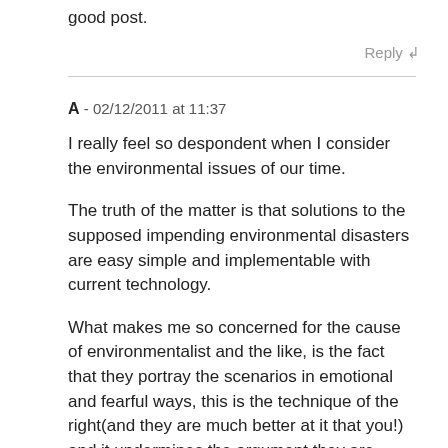good post.
Reply ↲
A - 02/12/2011 at 11:37
I really feel so despondent when I consider the environmental issues of our time.
The truth of the matter is that solutions to the supposed impending environmental disasters are easy simple and implementable with current technology.
What makes me so concerned for the cause of environmentalist and the like, is the fact that they portray the scenarios in emotional and fearful ways, this is the technique of the right(and they are much better at it that you!) and it undermines the argument they are making.
People who take this issue seriously need to stop appealing to people with scare stories and emotional